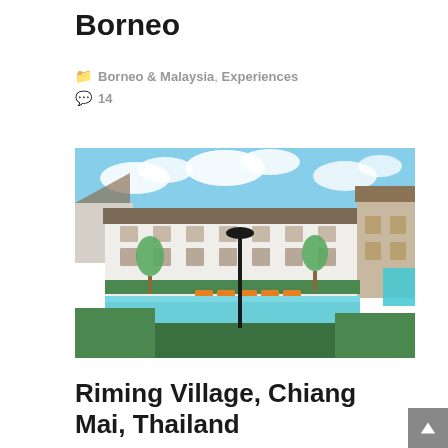Borneo
🗂 Borneo & Malaysia, Experiences
💬 14
[Figure (photo): Hotel resort with swimming pool, orange lounge chairs, tropical greenery and a lamp post in the foreground. Two-storey white colonial-style building in the background under a partly cloudy sky.]
Riming Village, Chiang Mai, Thailand